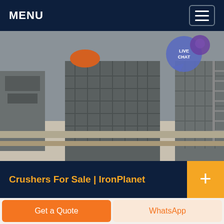MENU
[Figure (photo): Industrial crusher machinery photographed in a facility, showing heavy metal equipment with grid-like structures. A 'LIVE CHAT' speech bubble overlay is visible in the top-right corner.]
Crushers For Sale | IronPlanet
Crushers for Sale Buy and sell unused and used Crushers at IronPlanet. Whether looking for a Cone Crusher, Impact Crusher, Jaw Crusher or other various type, IronPlanet offers several makes and models that can help efficiently
Get a Quote | WhatsApp